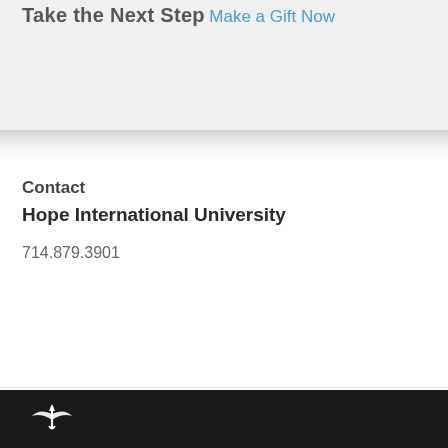Take the Next Step
Make a Gift Now
Contact
Hope International University
714.879.3901
[Figure (logo): Hope International University logo mark — white stylized dove/cross symbol on black footer bar]